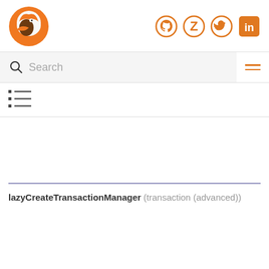[Figure (logo): Orange fox/bird logo]
[Figure (logo): Social media icons: GitHub, Zotero, Twitter, LinkedIn in orange]
Search
[Figure (infographic): Table of contents / list icon]
lazyCreateTransactionManager (transaction (advanced))